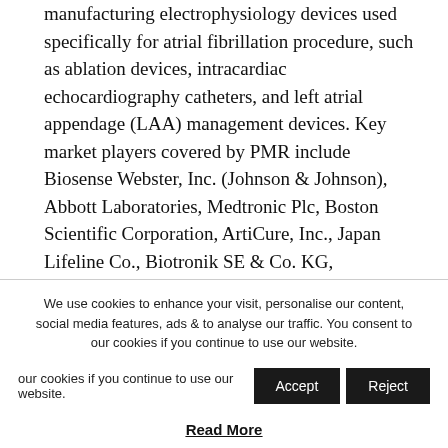manufacturing electrophysiology devices used specifically for atrial fibrillation procedure, such as ablation devices, intracardiac echocardiography catheters, and left atrial appendage (LAA) management devices. Key market players covered by PMR include Biosense Webster, Inc. (Johnson & Johnson), Abbott Laboratories, Medtronic Plc, Boston Scientific Corporation, ArtiCure, Inc., Japan Lifeline Co., Biotronik SE & Co. KG, Biomerics, MicroPort Corporation, and CathRx, who are consolidating their position through mergers, acquisitions, and new product launches.
Want more insights?
We use cookies to enhance your visit, personalise our content, social media features, ads & to analyse our traffic. You consent to our cookies if you continue to use our website.
Read More